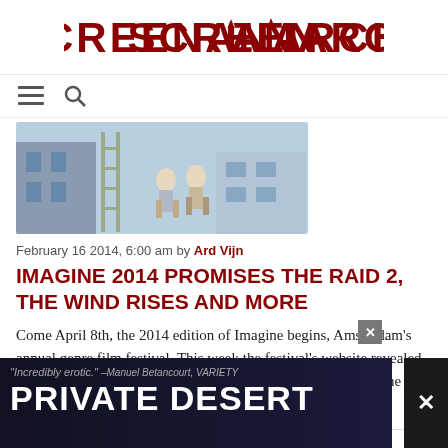SCREENANARCHY
[Figure (screenshot): Navigation bar with hamburger menu icon and search icon]
[Figure (photo): Animated film still showing figures in a scene from The Wind Rises]
February 16 2014, 6:00 am by Ard Vijn
IMAGINE 2014 Promises THE RAID 2, THE WIND RISES And More
Come April 8th, the 2014 edition of Imagine begins, Amsterdam's annual genre film festival. This week the festival's website revealed the first few titles, and an impressive shortlist it is! First up: The Raid 2, which is much anticipated in...
[Figure (photo): Next article thumbnail showing animated and colorful imagery]
[Figure (screenshot): Advertisement banner: 'Incredibly erotic.' —Manuel Betancourt, VARIETY | PRIVATE DESERT]